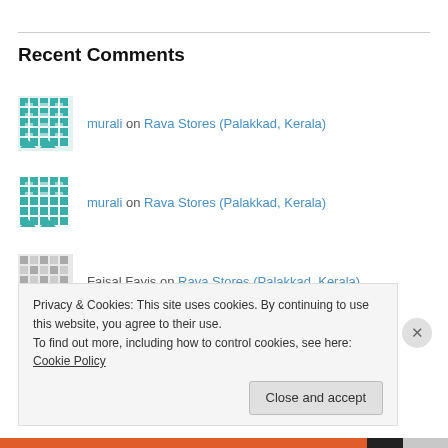Recent Comments
murali on Rava Stores (Palakkad, Kerala)
murali on Rava Stores (Palakkad, Kerala)
Faisal Fayis on Rava Stores (Palakkad, Kerala)
Anna and Shiv on Rava Stores (Palakkad, Kerala)
Privacy & Cookies: This site uses cookies. By continuing to use this website, you agree to their use. To find out more, including how to control cookies, see here: Cookie Policy
Close and accept